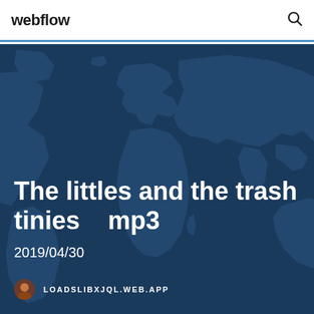webflow
[Figure (map): World map silhouette in dark blue tones used as hero background]
The littles and the trash tinies    mp3
2019/04/30
LOADSLIBXJQL.WEB.APP